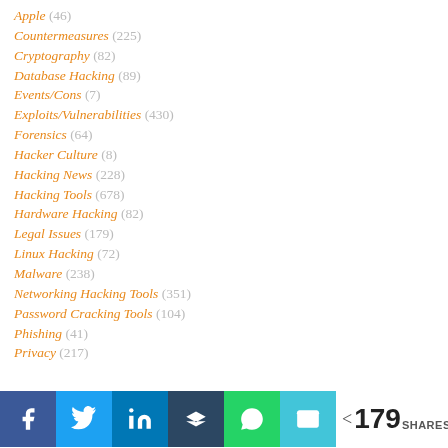Apple (46)
Countermeasures (225)
Cryptography (82)
Database Hacking (89)
Events/Cons (7)
Exploits/Vulnerabilities (430)
Forensics (64)
Hacker Culture (8)
Hacking News (228)
Hacking Tools (678)
Hardware Hacking (82)
Legal Issues (179)
Linux Hacking (72)
Malware (238)
Networking Hacking Tools (351)
Password Cracking Tools (104)
Phishing (41)
Privacy (217)
< 179 SHARES (share buttons: Facebook, Twitter, LinkedIn, Buffer, WhatsApp, Email)